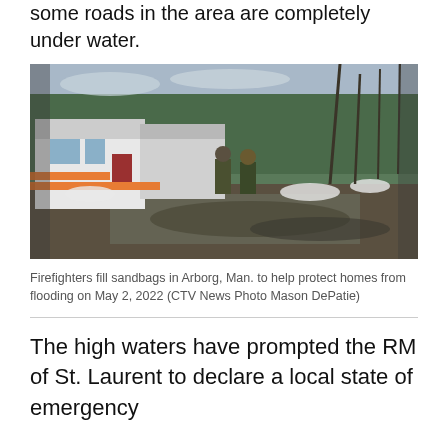some roads in the area are completely under water.
[Figure (photo): Firefighters wading through floodwater near a white house with orange flood barriers, surrounded by trees and snow, filling sandbags in Arborg, Manitoba on May 2, 2022.]
Firefighters fill sandbags in Arborg, Man. to help protect homes from flooding on May 2, 2022 (CTV News Photo Mason DePatie)
The high waters have prompted the RM of St. Laurent to declare a local state of emergency